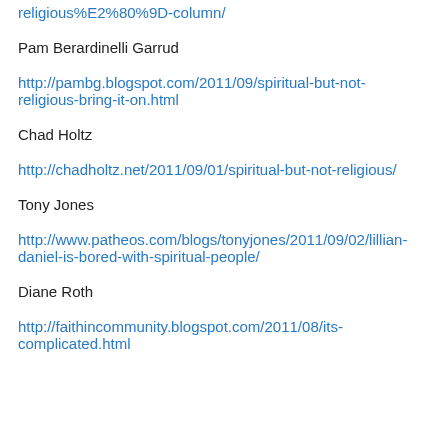religious%E2%80%9D-column/
Pam Berardinelli Garrud
http://pambg.blogspot.com/2011/09/spiritual-but-not-religious-bring-it-on.html
Chad Holtz
http://chadholtz.net/2011/09/01/spiritual-but-not-religious/
Tony Jones
http://www.patheos.com/blogs/tonyjones/2011/09/02/lillian-daniel-is-bored-with-spiritual-people/
Diane Roth
http://faithincommunity.blogspot.com/2011/08/its-complicated.html